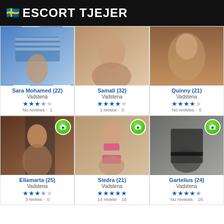🇸🇪 ESCORT TJEJER
[Figure (photo): Photo of Sara Mohamed, woman in striped top near water]
Sara Mohamed (22)
Vadstena
No reviews · 1
[Figure (photo): Photo of Samali, woman indoors]
Samali (32)
Vadstena
1 review · 0
[Figure (photo): Photo of Quinny, woman indoors]
Quinny (21)
Vadstena
No reviews · 0
[Figure (photo): Photo of Ellamarta, woman selfie in mirror]
Ellamarta (25)
Vadstena
3 review · 0
[Figure (photo): Photo of Siedra, woman in pink bikini]
Siedra (21)
Vadstena
14 review · 16
[Figure (photo): Photo of Gartelius, woman in black lingerie]
Gartelius (24)
Vadstena
No reviews · 16